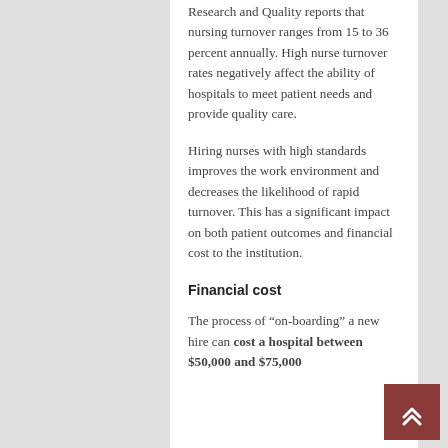Research and Quality reports that nursing turnover ranges from 15 to 36 percent annually. High nurse turnover rates negatively affect the ability of hospitals to meet patient needs and provide quality care.
Hiring nurses with high standards improves the work environment and decreases the likelihood of rapid turnover. This has a significant impact on both patient outcomes and financial cost to the institution.
Financial cost
The process of “on-boarding” a new hire can cost a hospital between $50,000 and $75,000